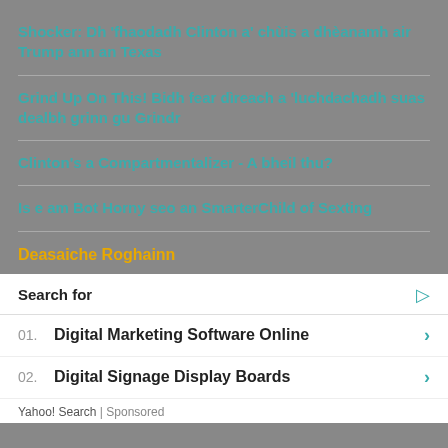Shocker: Dh 'fhaodadh Clinton a' chùis a dhèanamh air Trump ann an Texas
Grind Up On This! Bidh fear dìreach a 'luchdachadh suas dealbh grinn gu Grindr
Clinton's a Compartmentalizer - A bheil thu?
Is e am Bot Horny seo an SmarterChild of Sexting
Deasaiche Roghainn
Search for
01.  Digital Marketing Software Online
02.  Digital Signage Display Boards
Yahoo! Search | Sponsored